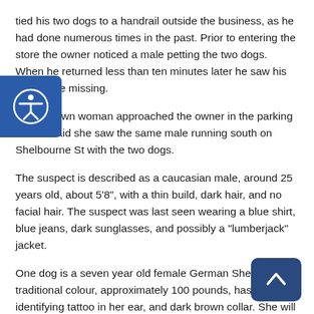tied his two dogs to a handrail outside the business, as he had done numerous times in the past. Prior to entering the store the owner noticed a male petting the two dogs. When he returned less than ten minutes later he saw his dogs were missing.
An unknown woman approached the owner in the parking lot and said she saw the same male running south on Shelbourne St with the two dogs.
The suspect is described as a caucasian male, around 25 years old, about 5'8", with a thin build, dark hair, and no facial hair. The suspect was last seen wearing a blue shirt, blue jeans, dark sunglasses, and possibly a "lumberjack" jacket.
One dog is a seven year old female German Shepherd, traditional colour, approximately 100 pounds, has a identifying tattoo in her ear, and dark brown collar. She will respond to the name "A...